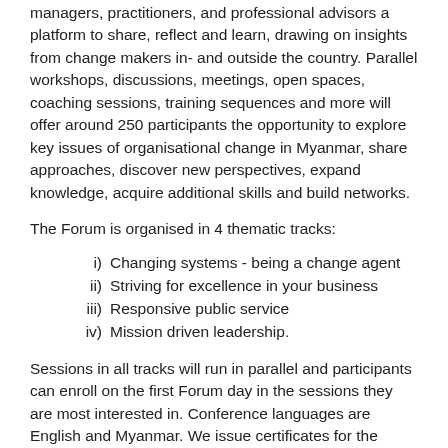managers, practitioners, and professional advisors a platform to share, reflect and learn, drawing on insights from change makers in- and outside the country. Parallel workshops, discussions, meetings, open spaces, coaching sessions, training sequences and more will offer around 250 participants the opportunity to explore key issues of organisational change in Myanmar, share approaches, discover new perspectives, expand knowledge, acquire additional skills and build networks.
The Forum is organised in 4 thematic tracks:
Changing systems - being a change agent
Striving for excellence in your business
Responsive public service
Mission driven leadership.
Sessions in all tracks will run in parallel and participants can enroll on the first Forum day in the sessions they are most interested in. Conference languages are English and Myanmar. We issue certificates for the participation in the Forum; in addition specific certificates will be awarded for